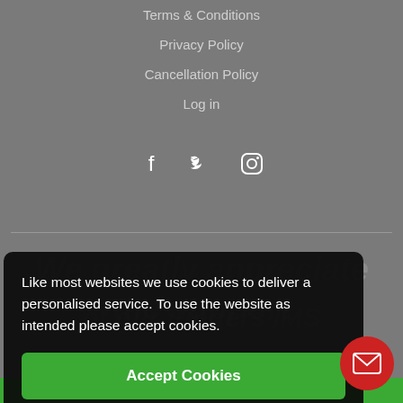Terms & Conditions
Privacy Policy
Cancellation Policy
Log in
[Figure (illustration): Social media icons: Facebook, Twitter, Instagram]
Like most websites we use cookies to deliver a personalised service. To use the website as intended please accept cookies.
Accept Cookies